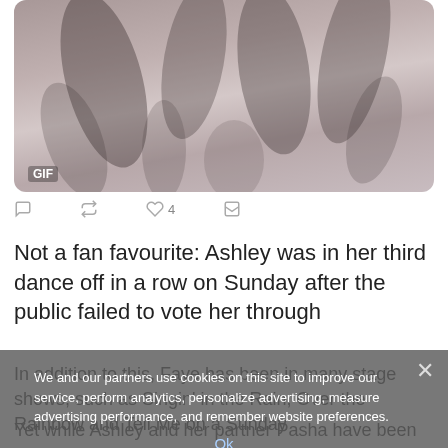[Figure (photo): A GIF image showing people with hands raised, with a 'GIF' label in the bottom left corner, displayed as a Twitter embedded media card]
[Figure (screenshot): Twitter action icons row: reply, retweet, heart (4 likes), share]
Not a fan favourite: Ashley was in her third dance off in a row on Sunday after the public failed to vote her through
In addition to this, Faye has been in many stage shows, such as Singin' in the Rain, Over the Rainbow and Tell Me on a Sunday
We and our partners use cookies on this site to improve our service, perform analytics, personalize advertising, measure advertising performance, and remember website preferences.
Ok
Yet while Ashley and her partner Pasha have been in